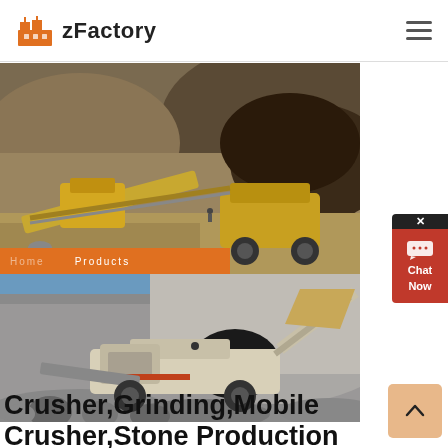zFactory
[Figure (photo): Aerial view of an open-pit quarry with yellow mining/crushing equipment and conveyor belts on brown rocky terrain]
[Figure (photo): Ground-level view of a mobile stone crusher machine working in a rocky quarry with large boulders and limestone rock face]
Crusher,Grinding,Mobile Crusher,Stone Production